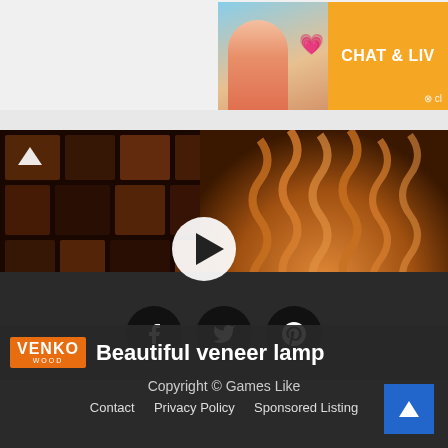[Figure (screenshot): Advertisement banner showing a woman on a beach with 'CHAT & LIVE' text on orange background]
[Figure (screenshot): Video thumbnail showing stacked wood on left, a glowing veneer lamp on right, with a play button overlay. Venko Wood logo and title 'Beautiful veneer lamp' in bottom bar.]
Copyright © Games Like
Contact   Privacy Policy   Sponsored Listing